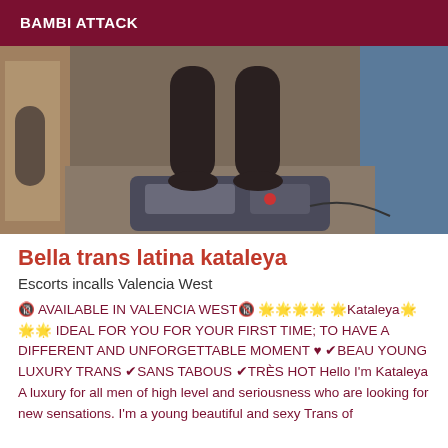BAMBI ATTACK
[Figure (photo): Photo showing legs and feet standing on a scale/device on a floor, with a mirror reflection visible and a blue wall in the background]
Bella trans latina kataleya
Escorts incalls Valencia West
🔞 AVAILABLE IN VALENCIA WEST🔞 🌟🌟🌟🌟 🌟Kataleya🌟🌟🌟 IDEAL FOR YOU FOR YOUR FIRST TIME; TO HAVE A DIFFERENT AND UNFORGETTABLE MOMENT ♥ ✔BEAU YOUNG LUXURY TRANS ✔SANS TABOUS ✔TRÈS HOT Hello I'm Kataleya A luxury for all men of high level and seriousness who are looking for new sensations. I'm a young beautiful and sexy Trans of